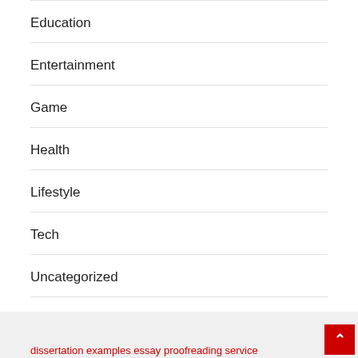Education
Entertainment
Game
Health
Lifestyle
Tech
Uncategorized
dissertation examples essay proofreading service